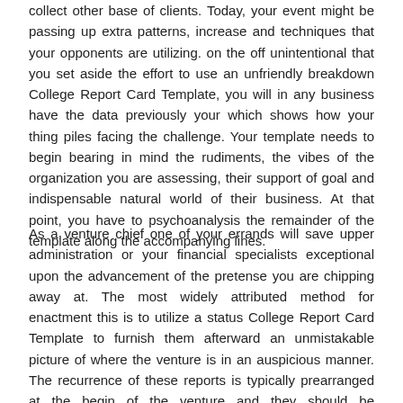collect other base of clients. Today, your event might be passing up extra patterns, increase and techniques that your opponents are utilizing. on the off unintentional that you set aside the effort to use an unfriendly breakdown College Report Card Template, you will in any business have the data previously your which shows how your thing piles facing the challenge. Your template needs to begin bearing in mind the rudiments, the vibes of the organization you are assessing, their support of goal and indispensable natural world of their business. At that point, you have to psychoanalysis the remainder of the template along the accompanying lines.
As a venture chief one of your errands will save upper administration or your financial specialists exceptional upon the advancement of the pretense you are chipping away at. The most widely attributed method for enactment this is to utilize a status College Report Card Template to furnish them afterward an unmistakable picture of where the venture is in an auspicious manner. The recurrence of these reports is typically prearranged at the begin of the venture and they should be documented on become old all together for any adjustments in the status quo monster curtains to be made. Most chiefs know about the idea regardless of whether they have never documented this nice of report previously.